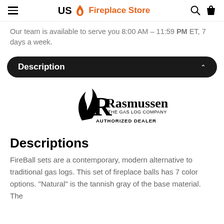US Fireplace Store
Our team is available to serve you 8:00 AM – 11:59 PM ET, 7 days a week.
Description
[Figure (logo): Rasmussen The Gas Log Company Authorized Dealer logo]
Descriptions
FireBall sets are a contemporary, modern alternative to traditional gas logs. This set of fireplace balls has 7 color options. "Natural" is the tannish gray of the base material. The